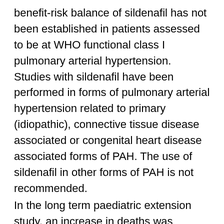benefit-risk balance of sildenafil has not been established in patients assessed to be at WHO functional class I pulmonary arterial hypertension. Studies with sildenafil have been performed in forms of pulmonary arterial hypertension related to primary (idiopathic), connective tissue disease associated or congenital heart disease associated forms of PAH. The use of sildenafil in other forms of PAH is not recommended.
In the long term paediatric extension study, an increase in deaths was observed in patients administered doses higher than the recommended dose.1).
Retinitis pigmentosa
The safety of sildenafil has not been studied in patients with known hereditary degenerative